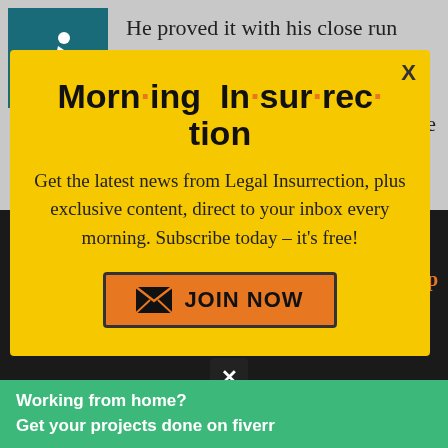He proved it with his close run against a stacked deck and Hillary, and his “America” ad was undoubtedly effective – scripted he can be good.
[Figure (illustration): Wheelchair accessibility icon in teal/dark cyan square]
Morning Insurrection
Get the latest news from Legal Insurrection, plus exclusive content, direct to your inbox every morning. Subscribe today – it’s free!
[Figure (infographic): JOIN NOW button with envelope icon, orange background with dark border]
the illiterate minority with the gen...
So run, please run – I think he doesn’t
Working from home?
Get your projects done on fiverr